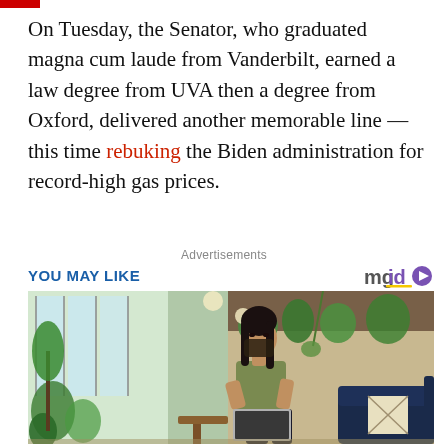On Tuesday, the Senator, who graduated magna cum laude from Vanderbilt, earned a law degree from UVA then a degree from Oxford, delivered another memorable line — this time rebuking the Biden administration for record-high gas prices.
Advertisements
YOU MAY LIKE
[Figure (photo): A woman wearing a face mask sitting on a couch in a plant-filled indoor space, working on a laptop.]